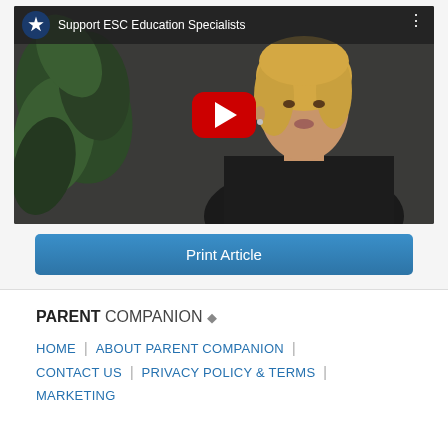[Figure (screenshot): YouTube video thumbnail showing a blonde woman in front of a plant, with YouTube play button overlay. Video title reads 'Support ESC Education Specialists'.]
Print Article
PARENT COMPANION +
HOME | ABOUT PARENT COMPANION | CONTACT US | PRIVACY POLICY & TERMS | MARKETING